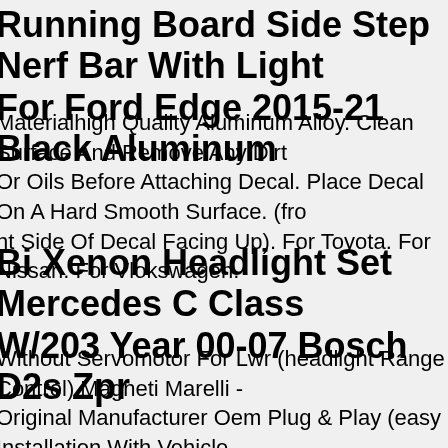Running Board Side Step Nerf Bar With Light For Ford Edge 2015-21 Black Aluminum
Materialhigh Quality Aluminum Alloy. Clean Surface And Remove Any Dirt Or Oils Before Attaching Decal. Place Decal On A Hard Smooth Surface. (front Side Of Decal Facing Up). For Toyota. For Nissan. For Vlokswagen.
Bi Xenon Headlight Set Mercedes C Class W/203 Year 00-07 Bosch D2s Zpr
Without Servomotor For Lwr (headlight Range Control) Magneti Marelli - Original Manufacturer Oem Plug & Play (easy Installation With Vehicle-Specific Plugs And Original Fastening Points) 2038203761 A2038203659 A2038201759 A2038203761 2038203861 A2038201759 2038201859 A2038203861 2038203559 A2038201859 A2038203559 2038203659 * These Numbers Are For Comparison Purposes Only The Items Shown In This Offer Are Generally Not Original Parts, Unless They Are Expressly Marked As Such Illustrations And Oe No. Are For Comparison Purposes Only And May Vary All Logos, Brand Names And Trademarks Used Are T